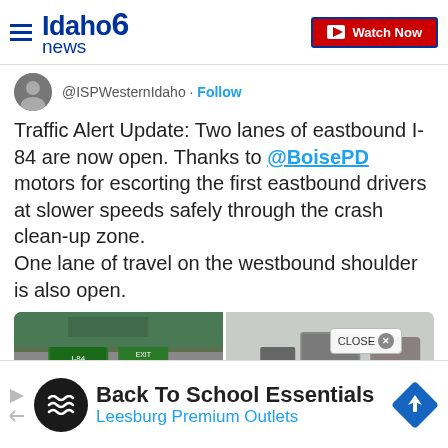Idaho news6 — Watch Now
@ISPWesternIdaho · Follow
Traffic Alert Update: Two lanes of eastbound I-84 are now open. Thanks to @BoisePD motors for escorting the first eastbound drivers at slower speeds safely through the crash clean-up zone.
One lane of travel on the westbound shoulder is also open.
[Figure (photo): Two side-by-side photos: left shows highway with green road signs and traffic infrastructure; right shows a truck or vehicle on a snowy road near a small building.]
[Figure (infographic): Advertisement bar: Back To School Essentials — Leesburg Premium Outlets, with circular logo and diamond-shaped road sign icon.]